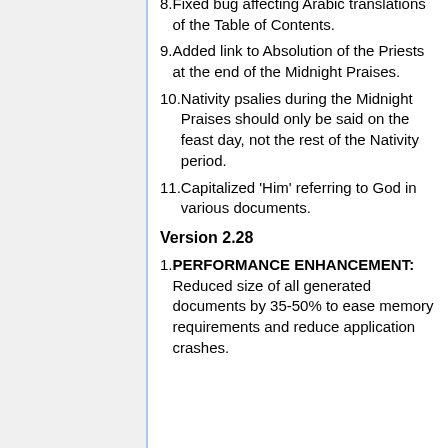8. Fixed bug affecting Arabic translations of the Table of Contents.
9. Added link to Absolution of the Priests at the end of the Midnight Praises.
10. Nativity psalies during the Midnight Praises should only be said on the feast day, not the rest of the Nativity period.
11. Capitalized 'Him' referring to God in various documents.
Version 2.28
1. PERFORMANCE ENHANCEMENT: Reduced size of all generated documents by 35-50% to ease memory requirements and reduce application crashes.